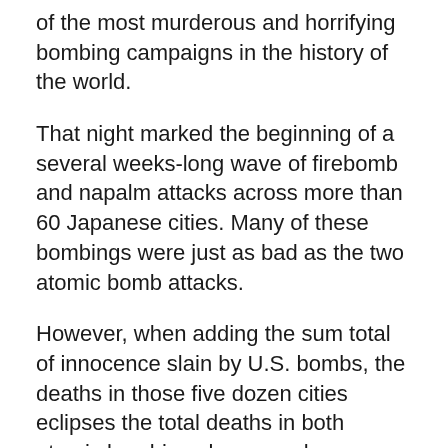of the most murderous and horrifying bombing campaigns in the history of the world.
That night marked the beginning of a several weeks-long wave of firebomb and napalm attacks across more than 60 Japanese cities. Many of these bombings were just as bad as the two atomic bomb attacks.
However, when adding the sum total of innocence slain by U.S. bombs, the deaths in those five dozen cities eclipses the total deaths in both atomic bombings by several magnitudes.
While Hiroshima and Nagasaki have been sho...